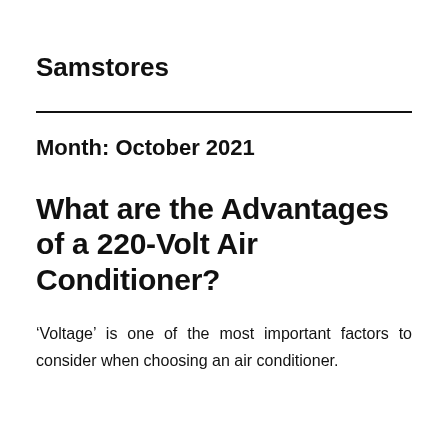Samstores
Month: October 2021
What are the Advantages of a 220-Volt Air Conditioner?
‘Voltage’ is one of the most important factors to consider when choosing an air conditioner.